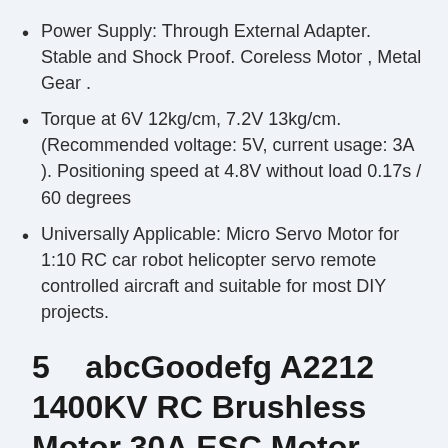Power Supply: Through External Adapter. Stable and Shock Proof. Coreless Motor , Metal Gear .
Torque at 6V 12kg/cm, 7.2V 13kg/cm. (Recommended voltage: 5V, current usage: 3A ). Positioning speed at 4.8V without load 0.17s / 60 degrees
Universally Applicable: Micro Servo Motor for 1:10 RC car robot helicopter servo remote controlled aircraft and suitable for most DIY projects.
5    abcGoodefg A2212 1400KV RC Brushless Motor 30A ESC Motor SG90 Micro Servo 8060